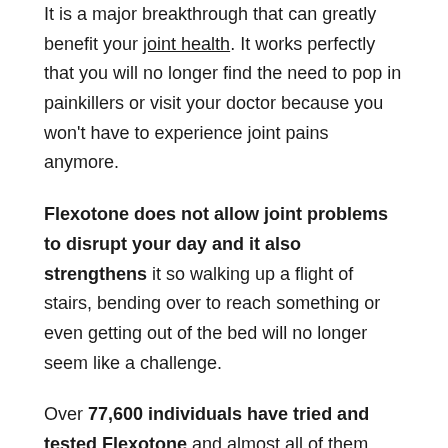It is a major breakthrough that can greatly benefit your joint health. It works perfectly that you will no longer find the need to pop in painkillers or visit your doctor because you won't have to experience joint pains anymore.
Flexotone does not allow joint problems to disrupt your day and it also strengthens it so walking up a flight of stairs, bending over to reach something or even getting out of the bed will no longer seem like a challenge.
Over 77,600 individuals have tried and tested Flexotone and almost all of them came back with positive reviews and experiences.